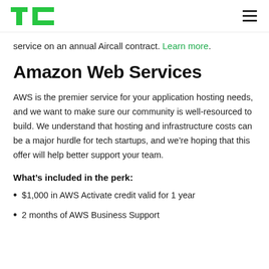TC
service on an annual Aircall contract. Learn more.
Amazon Web Services
AWS is the premier service for your application hosting needs, and we want to make sure our community is well-resourced to build. We understand that hosting and infrastructure costs can be a major hurdle for tech startups, and we’re hoping that this offer will help better support your team.
What’s included in the perk:
$1,000 in AWS Activate credit valid for 1 year
2 months of AWS Business Support